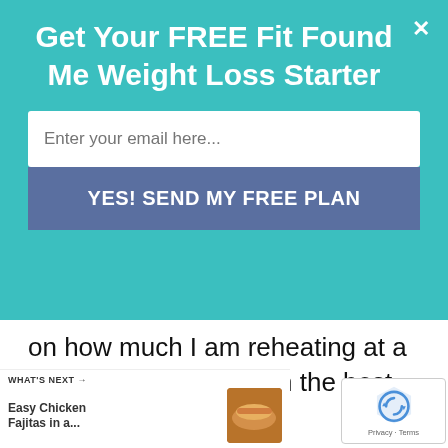Get Your FREE Fit Found Me Weight Loss Starter
on how much I am reheating at a time is how I decide on the best way to reheat it.
If you are reheating the chicken in the microwave, place it in a microwavable safe container. Reheat 1 minute at a time, stir and reheat it again until it is thoroughly heated.
WHAT'S NEXT → Easy Chicken Fajitas in a...
[Figure (logo): reCAPTCHA logo with Privacy · Terms text]